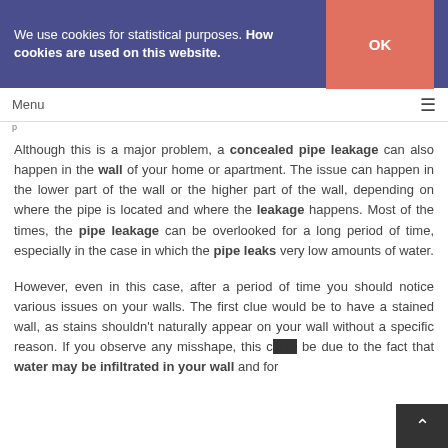We use cookies for statistical purposes. How cookies are used on this website. OK
Menu
Although this is a major problem, a concealed pipe leakage can also happen in the wall of your home or apartment. The issue can happen in the lower part of the wall or the higher part of the wall, depending on where the pipe is located and where the leakage happens. Most of the times, the pipe leakage can be overlooked for a long period of time, especially in the case in which the pipe leaks very low amounts of water.
However, even in this case, after a period of time you should notice various issues on your walls. The first clue would be to have a stained wall, as stains shouldn't naturally appear on your wall without a specific reason. If you observe any misshape, this could be due to the fact that water may be infiltrated in your wall and for